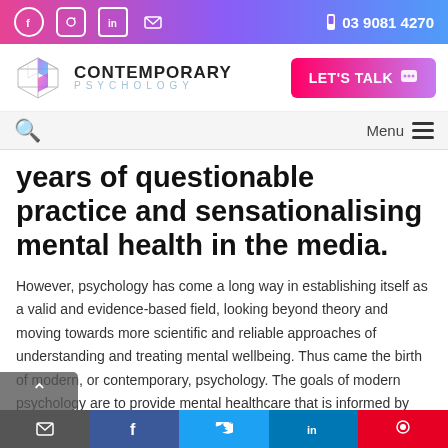Contemporary Psychology — 03 9081 4270
years of questionable practice and sensationalising mental health in the media.
However, psychology has come a long way in establishing itself as a valid and evidence-based field, looking beyond theory and moving towards more scientific and reliable approaches of understanding and treating mental wellbeing. Thus came the birth of modern, or contemporary, psychology. The goals of modern psychology are to provide mental healthcare that is informed by the latest knowledge, appropriate and individualised for its clients, and promotes